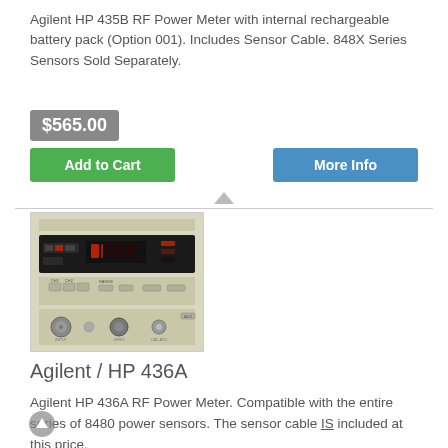Agilent HP 435B RF Power Meter with internal rechargeable battery pack (Option 001). Includes Sensor Cable. 848X Series Sensors Sold Separately.
$565.00
Add to Cart
More Info
[Figure (photo): Photo of an Agilent HP 436A RF Power Meter instrument, a beige/cream colored rack-mount unit with a front panel showing a digital display, various buttons and controls, and connectors.]
Agilent / HP 436A
Agilent HP 436A RF Power Meter. Compatible with the entire series of 8480 power sensors. The sensor cable IS included at this price.